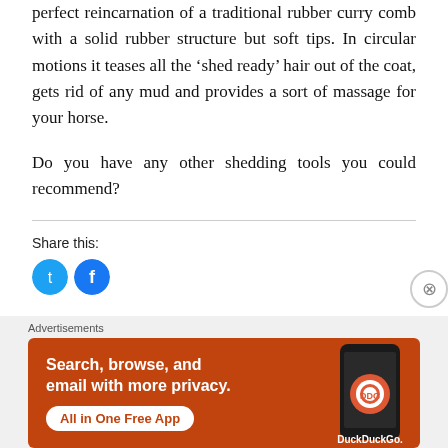perfect reincarnation of a traditional rubber curry comb with a solid rubber structure but soft tips. In circular motions it teases all the 'shed ready' hair out of the coat, gets rid of any mud and provides a sort of massage for your horse.
Do you have any other shedding tools you could recommend?
Share this:
[Figure (other): Two social share icon buttons (blue Twitter/X and blue Facebook circle icons)]
Advertisements
[Figure (other): DuckDuckGo advertisement banner with orange background. Text: 'Search, browse, and email with more privacy. All in One Free App' with DuckDuckGo logo and phone graphic.]